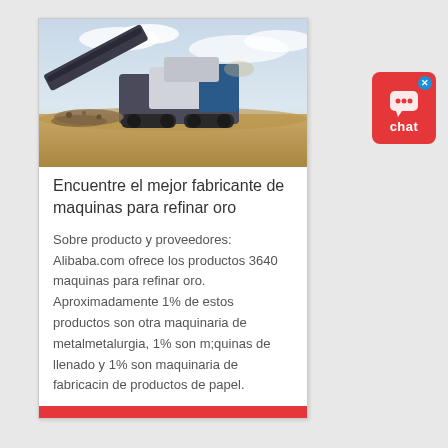[Figure (photo): Industrial mining/crushing machine (mobile crusher) on a sandy/gravel work site with cloudy sky background]
Encuentre el mejor fabricante de maquinas para refinar oro
Sobre producto y proveedores: Alibaba.com ofrece los productos 3640 maquinas para refinar oro. Aproximadamente 1% de estos productos son otra maquinaria de metalmetalurgia, 1% son m;quinas de llenado y 1% son maquinaria de fabricacin de productos de papel.
[Figure (other): Red chat widget button with speech bubble icon and 'chat' label, with blue X close button]